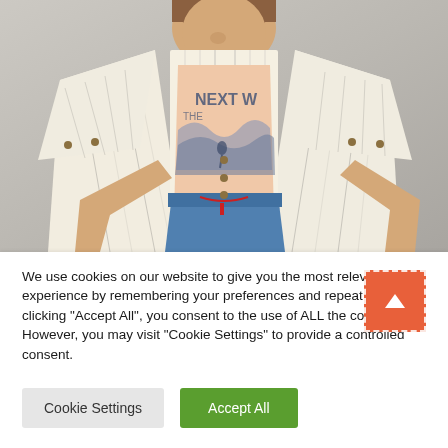[Figure (photo): A boy wearing a cream/off-white striped short-sleeve overshirt open over a peach/salmon t-shirt with a surf wave graphic reading 'NEXT W...' and blue shorts with a red drawstring, photographed against a light grey background, looking down]
We use cookies on our website to give you the most relevant experience by remembering your preferences and repeat visits. By clicking "Accept All", you consent to the use of ALL the cookies. However, you may visit "Cookie Settings" to provide a controlled consent.